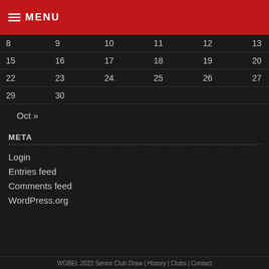☰ MENU
| 8 | 9 | 10 | 11 | 12 | 13 | 14 |
| 15 | 16 | 17 | 18 | 19 | 20 | 21 |
| 22 | 23 | 24 | 25 | 26 | 27 | 28 |
| 29 | 30 |  |  |  |  |  |
Oct »
META
Login
Entries feed
Comments feed
WordPress.org
WGBEL 2022 Senior Club Draw | History | Clubs | Contact